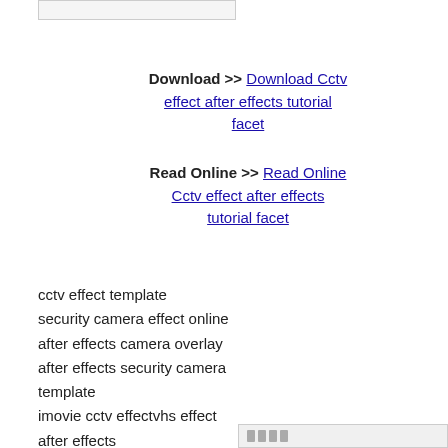[Figure (other): Top bordered box element (partial UI element at top of page)]
Download >> Download Cctv effect after effects tutorial facet
Read Online >> Read Online Cctv effect after effects tutorial facet
cctv effect template
security camera effect online
after effects camera overlay
after effects security camera template
imovie cctv effectvhs effect after effects
[Figure (other): Bottom right bordered box with small icon/bar elements]